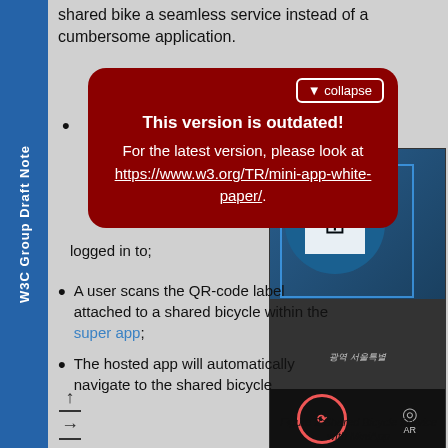shared bike a seamless service instead of a cumbersome application.
[Figure (screenshot): Modal dialog box with dark red background showing outdated version warning with collapse button, overlaid on a W3C Group Draft Note page]
▼ collapse
This version is outdated! For the latest version, please look at https://www.w3.org/TR/mini-app-white-paper/.
logged in to;
A user scans the QR-code label attached to a shared bicycle within the super app;
The hosted app will automatically navigate to the shared bicycle
[Figure (photo): Photograph of a shared bicycle QR code scanner with blue circular QR label, scanning interface with blue border overlay, and bottom toolbar showing scan and AR icons]
Figure 2 Shared Bicycle Service with MiniApp
W3C Group Draft Note